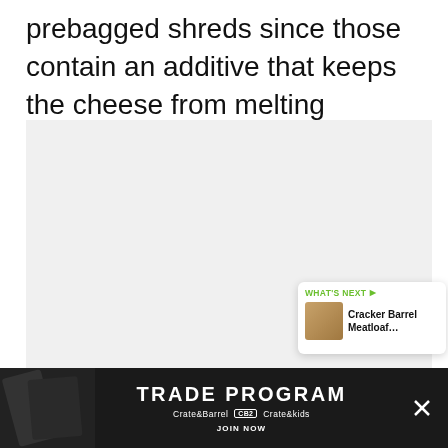prebagged shreds since those contain an additive that keeps the cheese from melting properly.
[Figure (photo): Large white/light grey rectangular image area (photo placeholder or food photo not visible in this crop)]
[Figure (infographic): UI overlay on image: green heart button showing 7 likes, share button, and 'WHAT'S NEXT' card showing 'Cracker Barrel Meatloaf...' with food thumbnail]
[Figure (infographic): Advertisement banner: dark background with decorative image on left, text 'TRADE PROGRAM', brands Crate&Barrel, CB2, Crate&kids, JOIN NOW, and X close button]